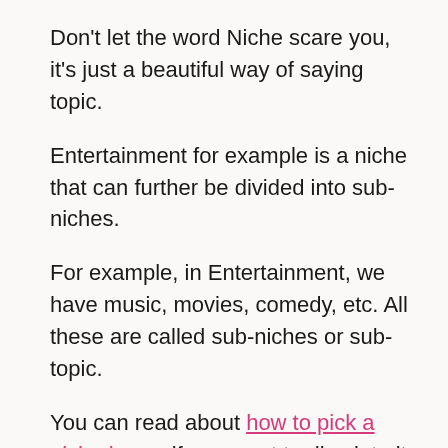Don't let the word Niche scare you, it's just a beautiful way of saying topic.
Entertainment for example is a niche that can further be divided into sub-niches.
For example, in Entertainment, we have music, movies, comedy, etc. All these are called sub-niches or sub-topic.
You can read about how to pick a niche here if you want to dive into it more.